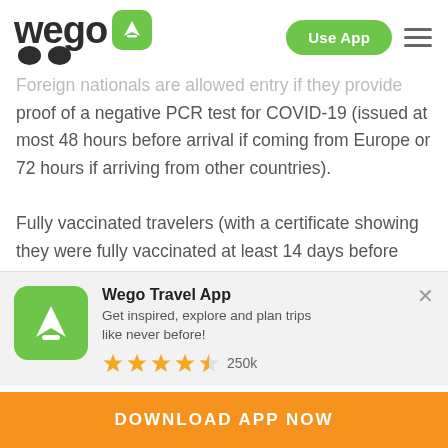[Figure (logo): Wego logo with green airplane icon and navigation bar with 'Use App' green button and hamburger menu]
Foreign nationals are allowed entry if they provide proof of a negative PCR test for COVID-19 (issued at most 48 hours before arrival if coming from Europe or 72 hours if arriving from other countries).

Fully vaccinated travelers (with a certificate showing they were fully vaccinated at least 14 days before arrival) and travelers with a COVID-19 recovery
[Figure (infographic): Wego Travel App promotional banner with green app icon showing white airplane, title 'Wego Travel App', description 'Get inspired, explore and plan trips like never before!', 4.5 star rating with 250k reviews, and orange 'DOWNLOAD APP NOW' button]